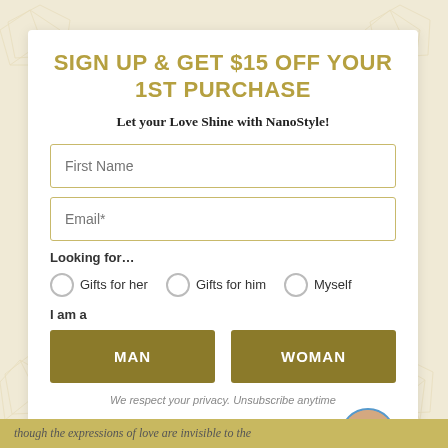SIGN UP & GET $15 OFF YOUR 1ST PURCHASE
Let your Love Shine with NanoStyle!
First Name
Email*
Looking for…
Gifts for her
Gifts for him
Myself
I am a
MAN
WOMAN
We respect your privacy. Unsubscribe anytime
Chat with us
though the expressions of love are invisible to the